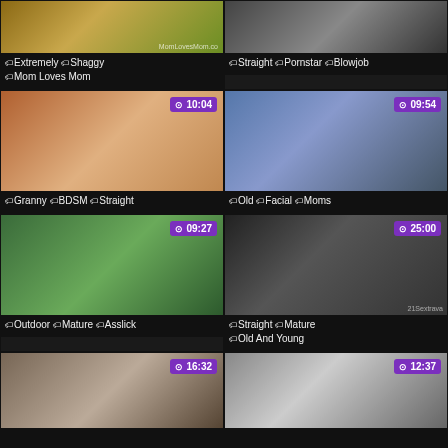[Figure (screenshot): Video thumbnail grid - adult content website screenshot showing 8 video thumbnails in a 2-column layout with tags and durations]
Extremely Shaggy Mom Loves Mom
Straight Pornstar Blowjob
Granny BDSM Straight - 10:04
Old Facial Moms - 09:54
Outdoor Mature Asslick - 09:27
Straight Mature Old And Young - 25:00
16:32
12:37